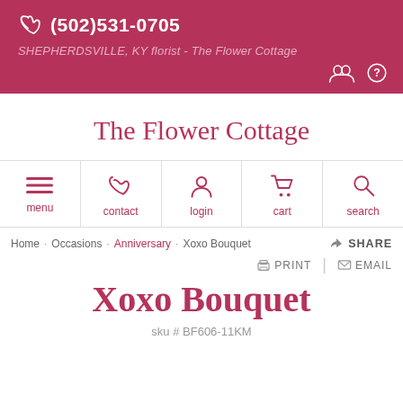(502)531-0705 SHEPHERDSVILLE, KY florist - The Flower Cottage
The Flower Cottage
[Figure (screenshot): Navigation bar with menu, contact, login, cart, search icons]
Home · Occasions · Anniversary · Xoxo Bouquet   ➤ SHARE   🖨 PRINT | ✉ EMAIL
Xoxo Bouquet
sku # BF606-11KM